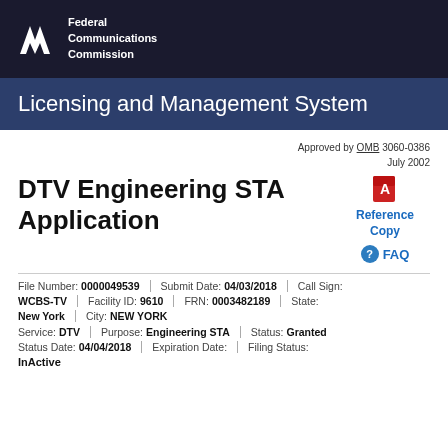[Figure (logo): FCC Federal Communications Commission logo on dark navy background]
Licensing and Management System
Approved by OMB 3060-0386
July 2002
DTV Engineering STA Application
[Figure (logo): Adobe PDF Reference Copy icon with link labeled Reference Copy]
FAQ
| File Number | Submit Date | Call Sign |
| --- | --- | --- |
| 0000049539 | 04/03/2018 |  |
| WCBS-TV | Facility ID: 9610 | FRN: 0003482189 |  | State: |
| New York | City: NEW YORK |  |  |
| Service: DTV | Purpose: Engineering STA | Status: Granted |  |  |
| Status Date: 04/04/2018 | Expiration Date: | Filing Status: |  |  |
| InActive |  |  |